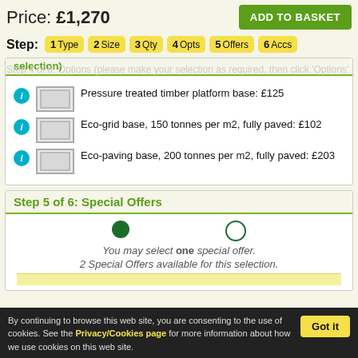Price: £1,270
ADD TO BASKET
Step: 1 Type  2 Size  3 Qty  4 Opts  5 Offers  6 Accs
selection)
Pressure treated timber platform base: £125
Eco-grid base, 150 tonnes per m2, fully paved: £102
Eco-paving base, 200 tonnes per m2, fully paved: £203
Step 5 of 6: Special Offers
You may select one special offer. 2 Special Offers available for this selection.
By continuing to browse this web site, you are consenting to the use of cookies. See the Privacy/Cookies page for more information about how we use cookies on this web site.
Got it